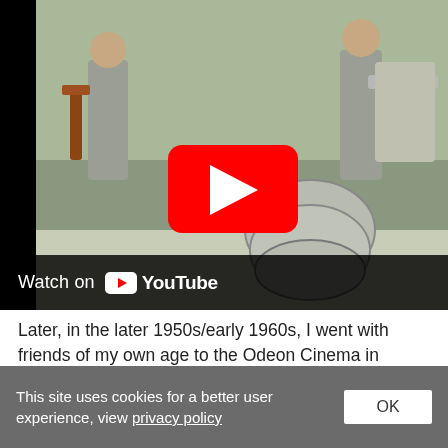[Figure (screenshot): YouTube video thumbnail showing a band performing on stage with guitars and drums, men in grey suits. A red YouTube play button is visible in the center. A 'Watch on YouTube' bar appears at the bottom of the video.]
Later, in the later 1950s/early 1960s, I went with friends of my own age to the Odeon Cinema in Bolton to see The Searchers, very popular at that time with their hits ‘Needles and Pins’ and ‘Don’t Throw Your Love Away’. Shortly after, we went to see The Springfields (before Dusty branched
This site uses cookies for a better user experience, view privacy policy